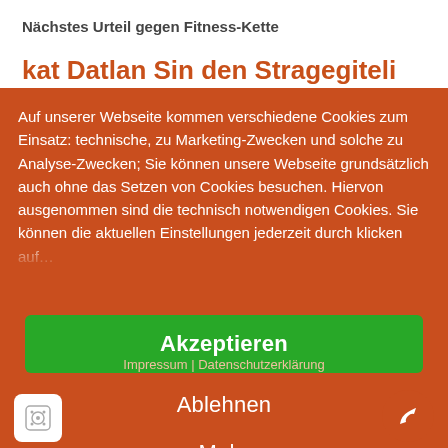Nächstes Urteil gegen Fitness-Kette
Auf unserer Webseite kommen verschiedene Cookies zum Einsatz: technische, zu Marketing-Zwecken und solche zu Analyse-Zwecken; Sie können unsere Webseite grundsätzlich auch ohne das Setzen von Cookies besuchen. Hiervon ausgenommen sind die technisch notwendigen Cookies. Sie können die aktuellen Einstellungen jederzeit durch klicken aufru...
Akzeptieren
Ablehnen
Mehr
Impressum | Datenschutzerklärung